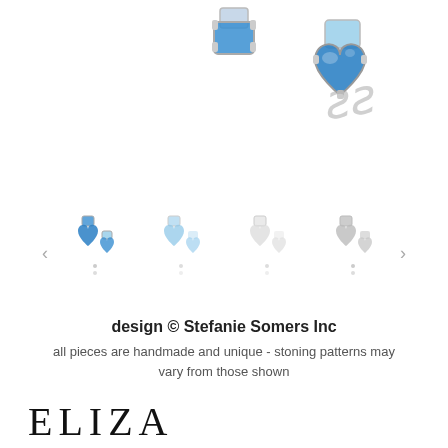[Figure (photo): Close-up product photo of blue crystal/gemstone earrings with silver settings against white background, with a decorative script logo watermark]
[Figure (photo): Thumbnail carousel showing four variants of the earrings in different colors (blue, light blue, clear/white, silver/grey) with left and right navigation arrows]
design © Stefanie Somers Inc
all pieces are handmade and unique - stoning patterns may vary from those shown
ELIZA